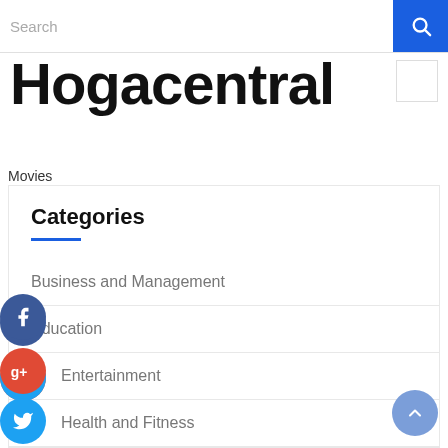Search
Hogacentral
Movies
Categories
Business and Management
Education
Entertainment
Health and Fitness
Home and Garden
Legal